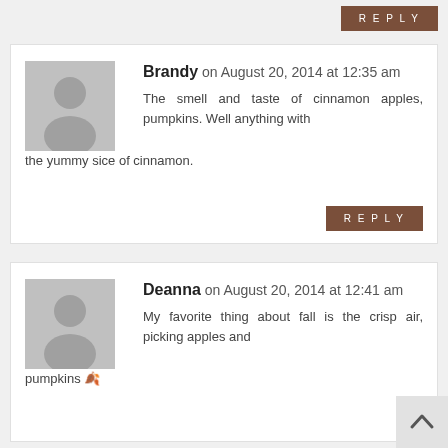REPLY (top button)
Brandy on August 20, 2014 at 12:35 am
[Figure (illustration): Generic user avatar placeholder — grey silhouette of a person on grey background]
The smell and taste of cinnamon apples, pumpkins. Well anything with the yummy sice of cinnamon.
REPLY (Brandy comment button)
Deanna on August 20, 2014 at 12:41 am
[Figure (illustration): Generic user avatar placeholder — grey silhouette of a person on grey background]
My favorite thing about fall is the crisp air, picking apples and pumpkins 🍂